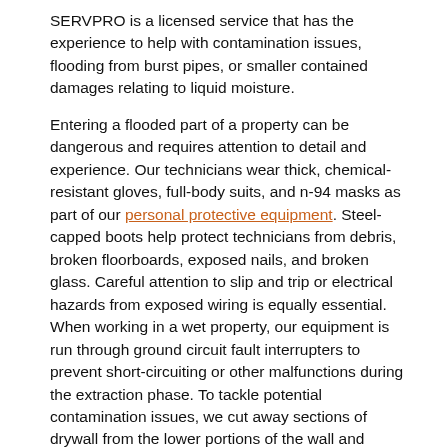SERVPRO is a licensed service that has the experience to help with contamination issues, flooding from burst pipes, or smaller contained damages relating to liquid moisture.
Entering a flooded part of a property can be dangerous and requires attention to detail and experience. Our technicians wear thick, chemical-resistant gloves, full-body suits, and n-94 masks as part of our personal protective equipment. Steel-capped boots help protect technicians from debris, broken floorboards, exposed nails, and broken glass. Careful attention to slip and trip or electrical hazards from exposed wiring is equally essential. When working in a wet property, our equipment is run through ground circuit fault interrupters to prevent short-circuiting or other malfunctions during the extraction phase. To tackle potential contamination issues, we cut away sections of drywall from the lower portions of the wall and replace them with clean drywall once the area is appropriately disinfected and sanitized to a safe level.
Home Maintenance and Preventing Water Intrusion
Checking that pipes are correctly insulating ahead of